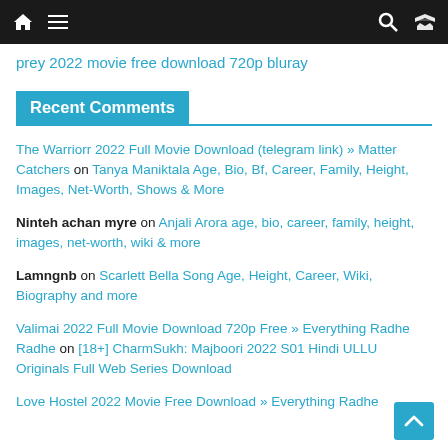Navigation bar with home, menu, search, shuffle icons
prey 2022 movie free download 720p bluray
Recent Comments
The Warriorr 2022 Full Movie Download (telegram link) » Matter Catchers on Tanya Maniktala Age, Bio, Bf, Career, Family, Height, Images, Net-Worth, Shows & More
Ninteh achan myre on Anjali Arora age, bio, career, family, height, images, net-worth, wiki & more
Lamngnb on Scarlett Bella Song Age, Height, Career, Wiki, Biography and more
Valimai 2022 Full Movie Download 720p Free » Everything Radhe Radhe on [18+] CharmSukh: Majboori 2022 S01 Hindi ULLU Originals Full Web Series Download
Love Hostel 2022 Movie Free Download » Everything Radhe